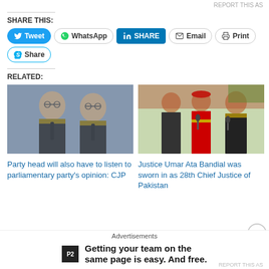REPORT THIS AS
SHARE THIS:
[Figure (screenshot): Social share buttons: Tweet, WhatsApp, SHARE (LinkedIn), Email, Print, Share (Skype)]
RELATED:
[Figure (photo): Two men in judicial robes seated/standing side by side]
Party head will also have to listen to parliamentary party's opinion: CJP
[Figure (photo): Justice Umar Ata Bandial being sworn in, with official in red uniform and another robed judge]
Justice Umar Ata Bandial was sworn in as 28th Chief Justice of Pakistan
Advertisements
[Figure (screenshot): Advertisement: P2 logo with text 'Getting your team on the same page is easy. And free.']
REPORT THIS AS